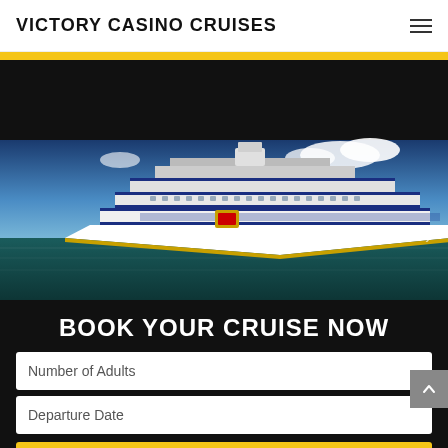VICTORY CASINO CRUISES
[Figure (photo): Cruise ship on open ocean with blue sky and clouds. Large white multi-deck vessel with blue stripes sailing on teal/dark green water.]
BOOK YOUR CRUISE NOW
Number of Adults
Departure Date
RESERVE